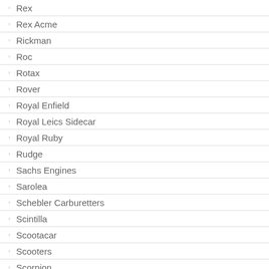Rex
Rex Acme
Rickman
Roc
Rotax
Rover
Royal Enfield
Royal Leics Sidecar
Royal Ruby
Rudge
Sachs Engines
Sarolea
Schebler Carburetters
Scintilla
Scootacar
Scooters
Scorpion